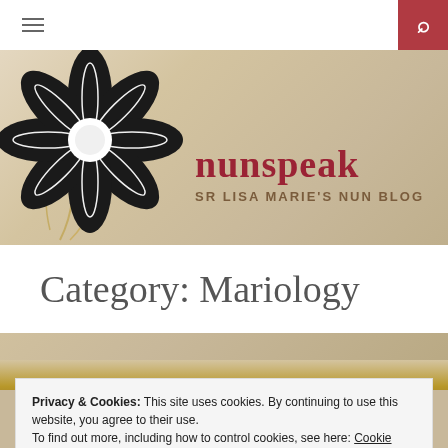[Figure (screenshot): Blog website header with hamburger menu icon on left and red search button on right in white navigation bar]
[Figure (illustration): Floral illustration with large black and white flower on cream/tan background with golden botanical motifs]
nunspeak
SR LISA MARIE'S NUN BLOG
Category: Mariology
[Figure (photo): Photo of an open book on a table with floral background]
Privacy & Cookies: This site uses cookies. By continuing to use this website, you agree to their use.
To find out more, including how to control cookies, see here: Cookie Policy
Close and accept